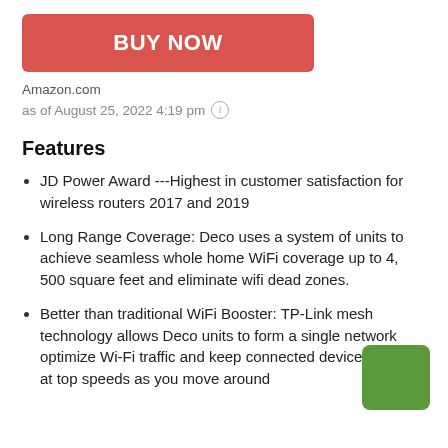[Figure (other): Red 'BUY NOW' button]
Amazon.com
as of August 25, 2022 4:19 pm ⓘ
Features
JD Power Award ---Highest in customer satisfaction for wireless routers 2017 and 2019
Long Range Coverage: Deco uses a system of units to achieve seamless whole home WiFi coverage up to 4, 500 square feet and eliminate wifi dead zones.
Better than traditional WiFi Booster: TP-Link mesh technology allows Deco units to form a single network optimize Wi-Fi traffic and keep connected devices running at top speeds as you move around